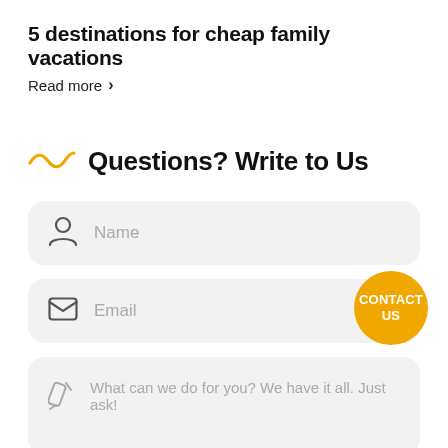5 destinations for cheap family vacations
Read more  >
Questions? Write to Us
[Figure (infographic): Contact form UI with three input fields: Name (with person icon), Email (with envelope icon and orange CONTACT US button), and a message field (with pencil icon) containing placeholder text 'What can we do for you? We have it all. Just ask!']